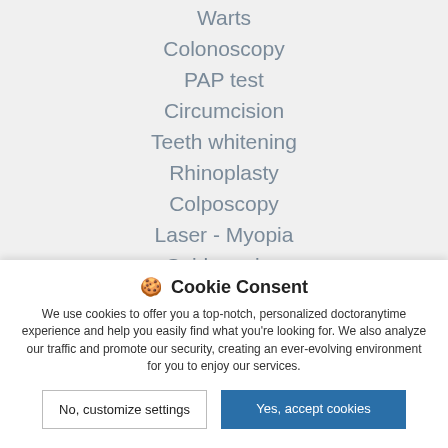Warts
Colonoscopy
PAP test
Circumcision
Teeth whitening
Rhinoplasty
Colposcopy
Laser - Myopia
Spider veins
🍪 Cookie Consent
We use cookies to offer you a top-notch, personalized doctoranytime experience and help you easily find what you're looking for. We also analyze our traffic and promote our security, creating an ever-evolving environment for you to enjoy our services.
No, customize settings | Yes, accept cookies